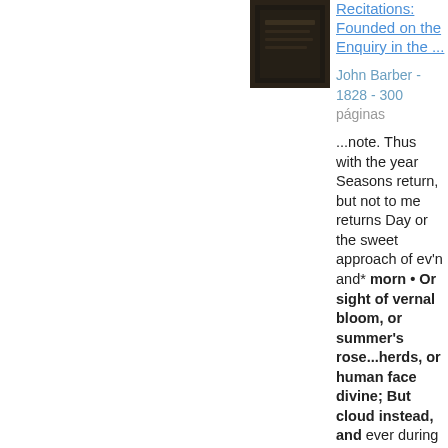[Figure (photo): Small dark photograph of a book cover in the upper center area]
Recitations: Founded on the Enquiry in the ...
John Barber - 1828 - 300 páginas
...note. Thus with the year Seasons return, but not to me returns Day or the sweet approach of ev'n and* morn • Or sight of vernal bloom, or summer's rose...herds, or human face divine; But cloud instead, and ever during dark Surrounds me, from the cheerful ways of men Cut off, and for the book is cut off